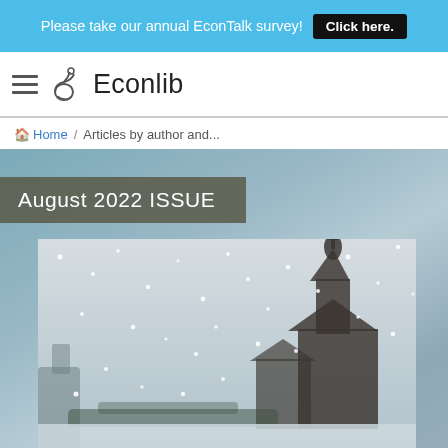Please take our annual EconTalk survey! Click here.
Econlib
Home / Articles by author and...
August 2022 ISSUE
[Figure (photo): Snowy winter scene with a wooden church or historic building on the right side in a snowstorm, monochrome/desaturated photograph. Used as cover image for the August 2022 issue of Econlib.]